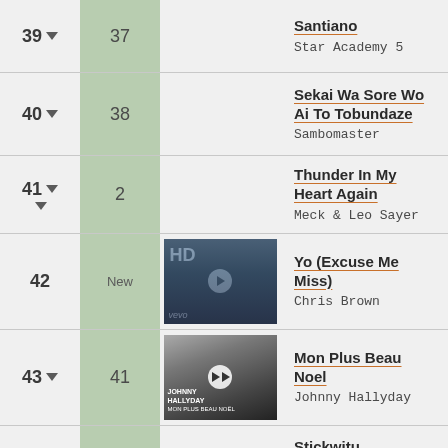| Rank | Prev | Thumb | Song / Artist |
| --- | --- | --- | --- |
| 39▼ | 37 |  | Santiano / Star Academy 5 |
| 40▼ | 38 |  | Sekai Wa Sore Wo Ai To Tobundaze / Sambomaster |
| 41▼ | 2 |  | Thunder In My Heart Again / Meck & Leo Sayer |
| 42 | New | [HD thumb] | Yo (Excuse Me Miss) / Chris Brown |
| 43▼ | 41 | [Johnny thumb] | Mon Plus Beau Noel / Johnny Hallyday |
| 44▼ | 6 |  | Stickwitu / Pussycat Dolls |